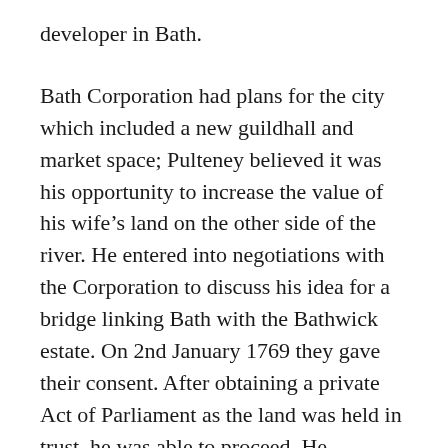developer in Bath.
Bath Corporation had plans for the city which included a new guildhall and market space; Pulteney believed it was his opportunity to increase the value of his wife's land on the other side of the river. He entered into negotiations with the Corporation to discuss his idea for a bridge linking Bath with the Bathwick estate. On 2nd January 1769 they gave their consent. After obtaining a private Act of Parliament as the land was held in trust, he was able to proceed. He purchased some land north of the area designated for development by the Corporation, this would ultimately be the location for the access point